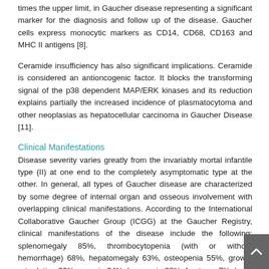times the upper limit, in Gaucher disease representing a significant marker for the diagnosis and follow up of the disease. Gaucher cells express monocytic markers as CD14, CD68, CD163 and MHC II antigens [8].
Ceramide insufficiency has also significant implications. Ceramide is considered an antioncogenic factor. It blocks the transforming signal of the p38 dependent MAP/ERK kinases and its reduction explains partially the increased incidence of plasmatocytoma and other neoplasias as hepatocellular carcinoma in Gaucher Disease [11].
Clinical Manifestations
Disease severity varies greatly from the invariably mortal infantile type (II) at one end to the completely asymptomatic type at the other. In general, all types of Gaucher disease are characterized by some degree of internal organ and osseous involvement with overlapping clinical manifestations. According to the International Collaborative Gaucher Group (ICGG) at the Gaucher Registry, clinical manifestations of the disease include the following: splenomegaly 85%, thrombocytopenia (with or without hemorrhage) 68%, hepatomegaly 63%, osteopenia 55%, growth retardation 36%, anemia 34%, bone pain 33%, fractures 7%, bone crises 7%.